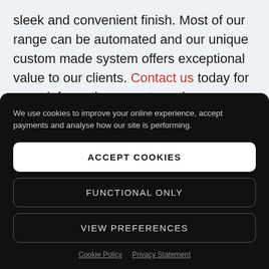sleek and convenient finish. Most of our range can be automated and our unique custom made system offers exceptional value to our clients. Contact us today for more information on automating your blinds.
We use cookies to improve your online experience, accept payments and analyse how our site is performing.
ACCEPT COOKIES
FUNCTIONAL ONLY
VIEW PREFERENCES
Cookie Policy  Privacy Statement